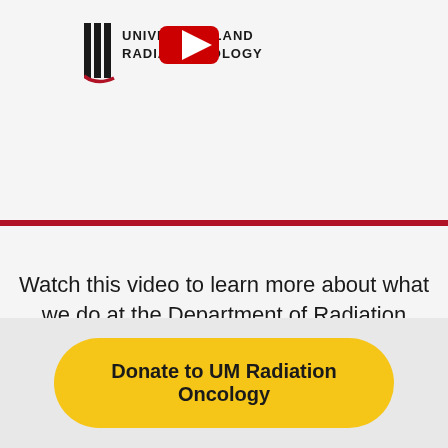[Figure (logo): University of Maryland Radiation Oncology logo with vertical bars emblem and YouTube play button overlay]
Watch this video to learn more about what we do at the Department of Radiation Oncology →
Donate to UM Radiation Oncology